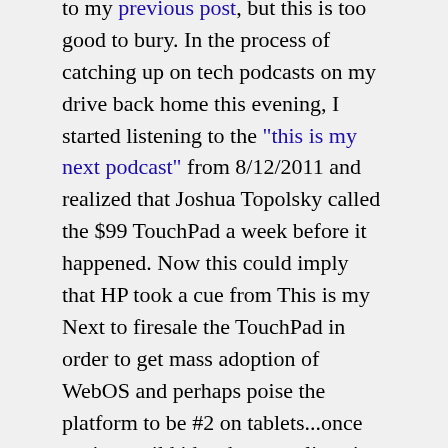to my previous post, but this is too good to bury. In the process of catching up on tech podcasts on my drive back home this evening, I started listening to the "this is my next podcast" from 8/12/2011 and realized that Joshua Topolsky called the $99 TouchPad a week before it happened. Now this could imply that HP took a cue from This is my Next to firesale the TouchPad in order to get mass adoption of WebOS and perhaps poise the platform to be #2 on tablets...once again, a wild idea, but start listening at around 18 minutes into the podcast and you'll likely drop your jaw on this.
Here's a snippet (20 minutes in): "So like if they priced it at $100 and sold 10 million of them they would now be the number two tablet. I mean I'm saying like, the price doesn't define what it is. I mean certainly